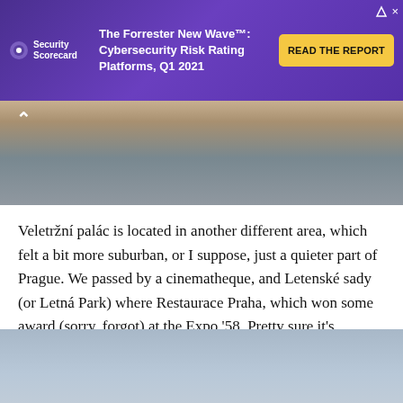[Figure (other): Advertisement banner for SecurityScorecard - The Forrester New Wave™: Cybersecurity Risk Rating Platforms, Q1 2021 with READ THE REPORT button on purple background]
[Figure (photo): Partial photo of people outdoors, cropped at top of page with a chevron/up arrow overlay]
Veletržní palác is located in another different area, which felt a bit more suburban, or I suppose, just a quieter part of Prague. We passed by a cinematheque, and Letenské sady (or Letná Park) where Restaurace Praha, which won some award (sorry, forgot) at the Expo '58. Pretty sure it's currently occupied by an ad agency:
[Figure (photo): Partial photo showing blue sky, bottom of page, appears to be an outdoor building shot]